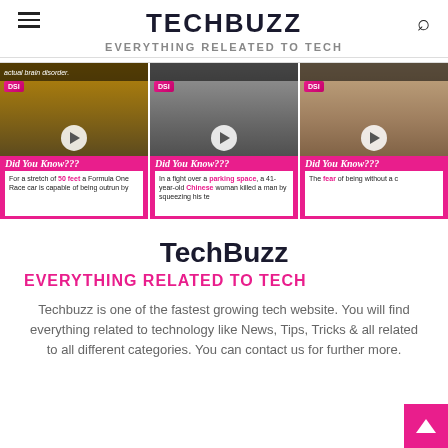TECHBUZZ — EVERYTHING RELEATED TO TECH
[Figure (screenshot): Three video thumbnail cards from a 'Did You Know???' series, each showing a photo and a pink bottom bar with italic script title and white text description.]
TechBuzz
EVERYTHING RELATED TO TECH
Techbuzz is one of the fastest growing tech website. You will find everything related to technology like News, Tips, Tricks & all related to all different categories. You can contact us for further more.